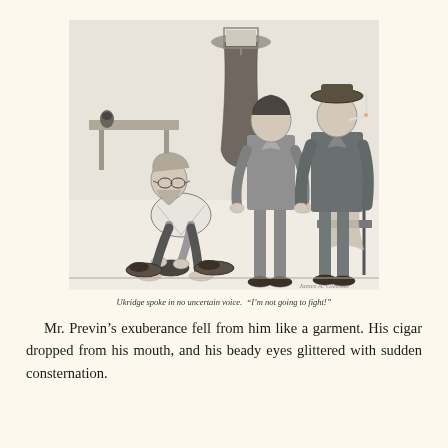[Figure (illustration): Black and white pen illustration showing three men in a room. A disheveled man with glasses crouches on the floor putting on shoes, while two well-dressed men in suits stand over him looking down. A coat hangs on a hook on the wall in the background, and a chair with draped fabric is visible on the right.]
Ukridge spoke in no uncertain voice.  "I'm not going to fight!"
Mr. Previn's exuberance fell from him like a garment. His cigar dropped from his mouth, and his beady eyes glittered with sudden consternation.